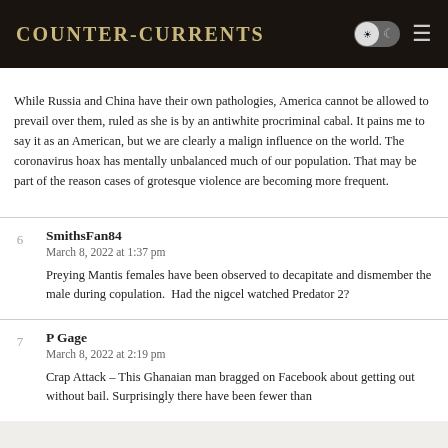Counter-Currents
While Russia and China have their own pathologies, America cannot be allowed to prevail over them, ruled as she is by an antiwhite procriminal cabal. It pains me to say it as an American, but we are clearly a malign influence on the world. The coronavirus hoax has mentally unbalanced much of our population. That may be part of the reason cases of grotesque violence are becoming more frequent.
SmithsFan84
March 8, 2022 at 1:37 pm
Preying Mantis females have been observed to decapitate and dismember the male during copulation.  Had the nigcel watched Predator 2?
P Gage
March 8, 2022 at 2:19 pm
Crap Attack – This Ghanaian man bragged on Facebook about getting out without bail. Surprisingly there have been fewer than